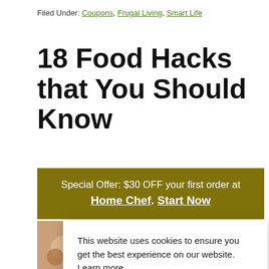Filed Under: Coupons, Frugal Living, Smart Life
18 Food Hacks that You Should Know
Special Offer: $30 OFF your first order at Home Chef. Start Now
This website uses cookies to ensure you get the best experience on our website. Learn more
Got it!
Y
[Figure (photo): Food image bottom left]
[Figure (photo): Food image bottom middle]
preparing and